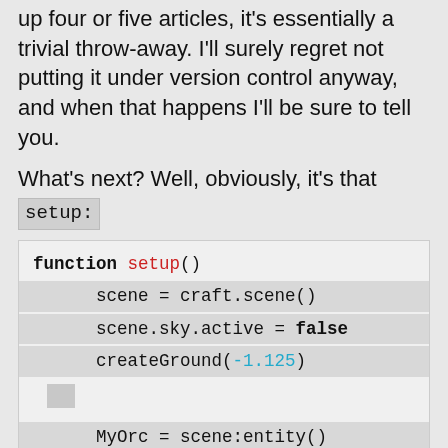up four or five articles, it's essentially a trivial throw-away. I'll surely regret not putting it under version control anyway, and when that happens I'll be sure to tell you.
What's next? Well, obviously, it's that setup:
[Figure (screenshot): Code block showing a function named setup() with lines: scene = craft.scene(), scene.sky.active = false, createGround(-1.125), blank line, MyOrc = scene:entity(), MyOrc.model = craft.model("Blocky]